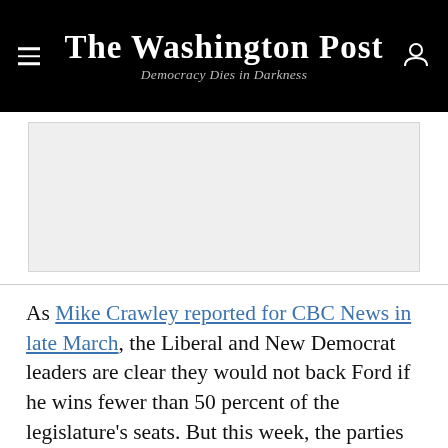The Washington Post — Democracy Dies in Darkness
[Figure (other): Advertisement placeholder box (gray rectangle)]
As Mike Crawley reported for CBC News in late March, the Liberal and New Democrat leaders are clear they would not back Ford if he wins fewer than 50 percent of the legislature's seats. But this week, the parties ruled out a deal similar to the current federal
New Democrats. The likelihood of a formal or informal